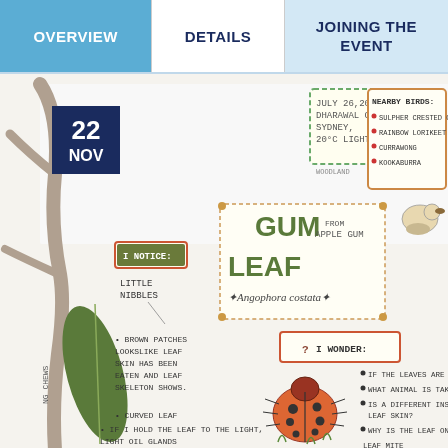OVERVIEW | DETAILS | JOINING THE EVENT
[Figure (illustration): Hand-drawn nature journal page showing a gum leaf (Angophora costata) from Apple Gum, dated July 26 2021, Dharawal Country, Sydney, 20°C Light Breeze. Contains sections: I Notice (little nibbles, brown patches, leaf skeleton shows, curved leaf), Nearby Birds (Sulphur Crested Cockatoo, Rainbow Lorikeet, Currawong, Kookaburra), I Wonder (if leaves are larger, what animal is taking, is a different insect/animal eating leaf skin, why is the leaf on the ground). Illustrated with a ladybug, bird, and leaf drawings.]
22 NOV